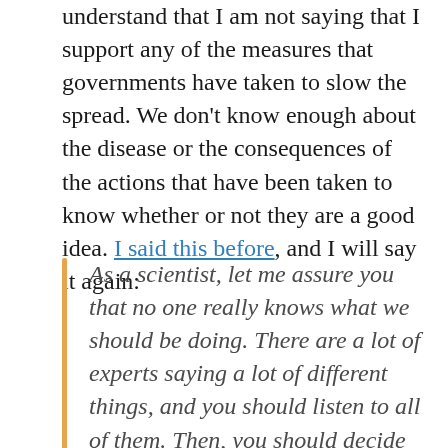understand that I am not saying that I support any of the measures that governments have taken to slow the spread. We don't know enough about the disease or the consequences of the actions that have been taken to know whether or not they are a good idea. I said this before, and I will say it again:
As a scientist, let me assure you that no one really knows what we should be doing. There are a lot of experts saying a lot of different things, and you should listen to all of them. Then, you should decide what works best for you and your family, and you should start doing it. But once you decide what you and your family should be doing, please